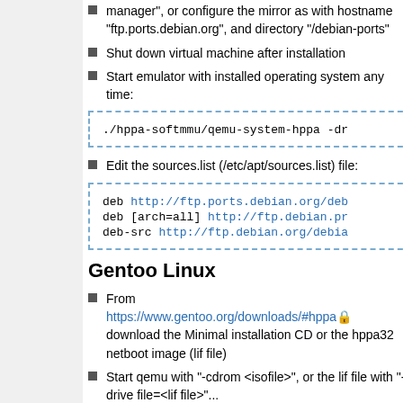manager", or configure the mirror as with hostname "ftp.ports.debian.org", and directory "/debian-ports"
Shut down virtual machine after installation
Start emulator with installed operating system any time:
./hppa-softmmu/qemu-system-hppa -dr
Edit the sources.list (/etc/apt/sources.list) file:
deb http://ftp.ports.debian.org/deb
deb [arch=all] http://ftp.debian.pr
deb-src http://ftp.debian.org/debia
Gentoo Linux
From https://www.gentoo.org/downloads/#hppa download the Minimal installation CD or the hppa32 netboot image (lif file)
Start qemu with "-cdrom <isofile>", or the lif file with "-drive file=<lif file>"...